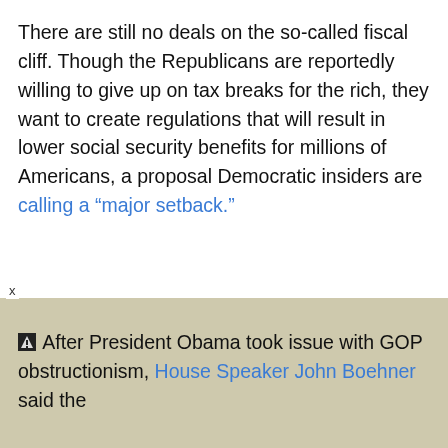There are still no deals on the so-called fiscal cliff. Though the Republicans are reportedly willing to give up on tax breaks for the rich, they want to create regulations that will result in lower social security benefits for millions of Americans, a proposal Democratic insiders are calling a "major setback."
After President Obama took issue with GOP obstructionism, House Speaker John Boehner said the